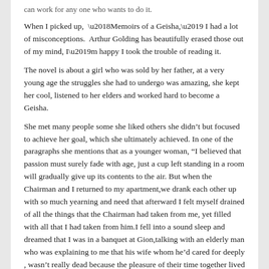can work for any one who wants to do it.
When I picked up,  ‘Memoirs of a Geisha,’ I had a lot of misconceptions.  Arthur Golding has beautifully erased those out of my mind, I’m happy I took the trouble of reading it.
The novel is about a girl who was sold by her father, at a very young age the struggles she had to undergo was amazing, she kept her cool, listened to her elders and worked hard to become a Geisha.
She met many people some she liked others she didn’t but focused to achieve her goal, which she ultimately achieved. In one of the paragraphs she mentions that as a younger woman, “I believed that passion must surely fade with age, just a cup left standing in a room will gradually give up its contents to the air. But when the Chairman and I returned to my apartment,we drank each other up with so much yearning and need that afterward I felt myself drained of all the things that the Chairman had taken from me, yet filled with all that I had taken from him.I fell into a sound sleep and dreamed that I was in a banquet at Gion,talking with an elderly man who was explaining to me that his wife whom he’d cared for deeply , wasn’t really dead because the pleasure of their time together lived on inside him. I began to feel all the  people I’ve ever known who had died or left me had not in fact gone away , but continued to live on inside me ___ my sister Satsu, who had run away and left me so young; my father and mother; Mr.